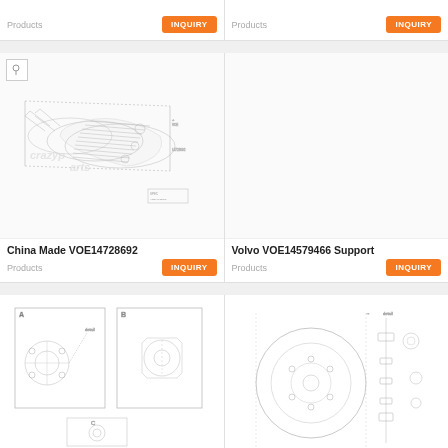Products
INQUIRY
Products
INQUIRY
[Figure (engineering-diagram): Technical exploded-view engineering diagram of a multi-cylinder engine or similar assembly, with dimension lines and part annotations. Watermark text 'crazyparts' visible.]
China Made VOE14728692
Products
INQUIRY
[Figure (schematic): Empty or blank product image for Volvo VOE14579466 Support]
Volvo VOE14579466 Support
Products
INQUIRY
[Figure (engineering-diagram): Engineering diagram showing two labeled sections A and B with mechanical part assemblies and annotations]
[Figure (engineering-diagram): Engineering diagram of a mechanical assembly with circular components, bolts, and connecting parts with dimension callouts]